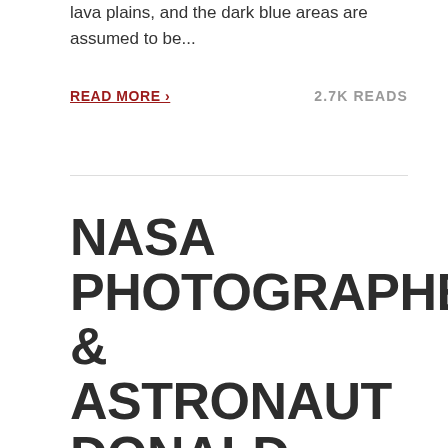lava plains, and the dark blue areas are assumed to be...
READ MORE › 2.7K READS
NASA PHOTOGRAPHER & ASTRONAUT DONALD PETTIT SHOOTS IN SPACE